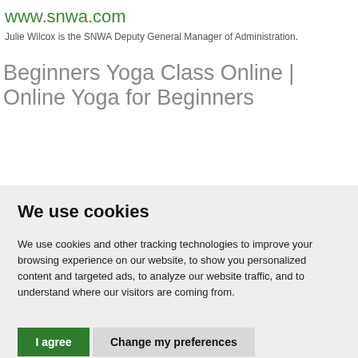www.snwa.com
Julie Wilcox is the SNWA Deputy General Manager of Administration.
Beginners Yoga Class Online | Online Yoga for Beginners
We use cookies
We use cookies and other tracking technologies to improve your browsing experience on our website, to show you personalized content and targeted ads, to analyze our website traffic, and to understand where our visitors are coming from.
I agree | Change my preferences